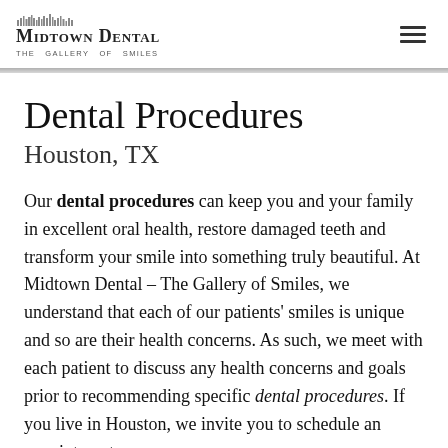Midtown Dental – The Gallery of Smiles (logo and navigation header)
Dental Procedures
Houston, TX
Our dental procedures can keep you and your family in excellent oral health, restore damaged teeth and transform your smile into something truly beautiful. At Midtown Dental – The Gallery of Smiles, we understand that each of our patients' smiles is unique and so are their health concerns. As such, we meet with each patient to discuss any health concerns and goals prior to recommending specific dental procedures. If you live in Houston, we invite you to schedule an appointment